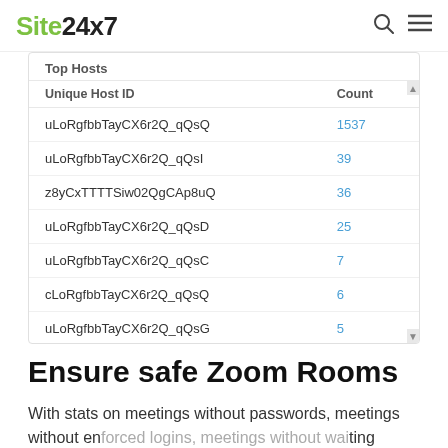Site24x7
Top Hosts
| Unique Host ID | Count |
| --- | --- |
| uLoRgfbbTayCX6r2Q_qQsQ | 1537 |
| uLoRgfbbTayCX6r2Q_qQsI | 39 |
| z8yCxTTTTSiw02QgCAp8uQ | 36 |
| uLoRgfbbTayCX6r2Q_qQsD | 25 |
| uLoRgfbbTayCX6r2Q_qQsC | 7 |
| cLoRgfbbTayCX6r2Q_qQsQ | 6 |
| uLoRgfbbTayCX6r2Q_qQsG | 5 |
| uLoRgfbbTayCX6r2Q_qQsP | 5 |
Ensure safe Zoom Rooms
With stats on meetings without passwords, meetings without enforced logins, meetings without waiting rooms, and meetings where guests can join before the host, identify